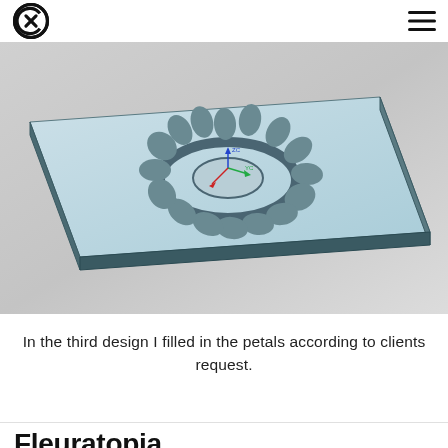Cx logo and hamburger menu
[Figure (engineering-diagram): 3D CAD rendering of a flower-shaped design on a rectangular plate. The design shows petal-shaped protrusions arranged in a circular pattern around a central ring, displayed in light blue/teal color with a coordinate axis indicator (ZC, YC) in the center.]
In the third design I filled in the petals according to clients request.
Fleuratopia